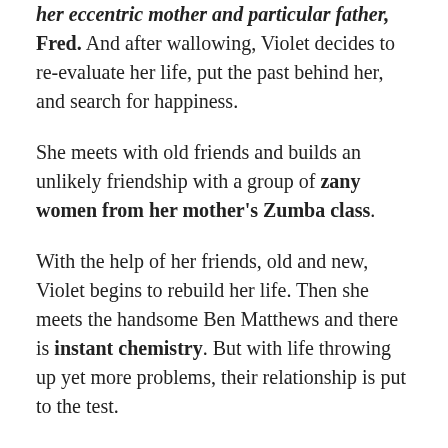her eccentric mother and particular father, Fred. And after wallowing, Violet decides to re-evaluate her life, put the past behind her, and search for happiness.
She meets with old friends and builds an unlikely friendship with a group of zany women from her mother's Zumba class.
With the help of her friends, old and new, Violet begins to rebuild her life. Then she meets the handsome Ben Matthews and there is instant chemistry. But with life throwing up yet more problems, their relationship is put to the test.
My Rating: 5/5
My Review: I picked this book up having no idea that I had never read this author before, I can